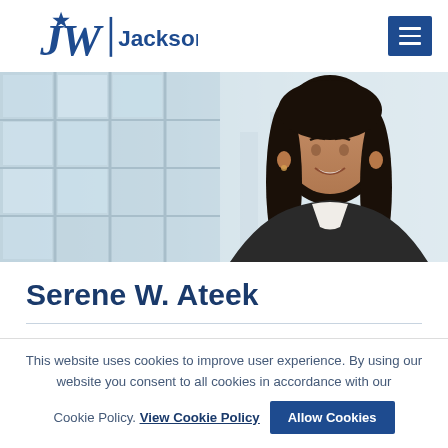[Figure (logo): JW Jackson Walker law firm logo with star above JW letters and vertical bar separator]
[Figure (photo): Professional headshot of a young woman with long dark hair in business attire, smiling, with blurred office building windows in background]
Serene W. Ateek
This website uses cookies to improve user experience. By using our website you consent to all cookies in accordance with our Cookie Policy. View Cookie Policy   Allow Cookies